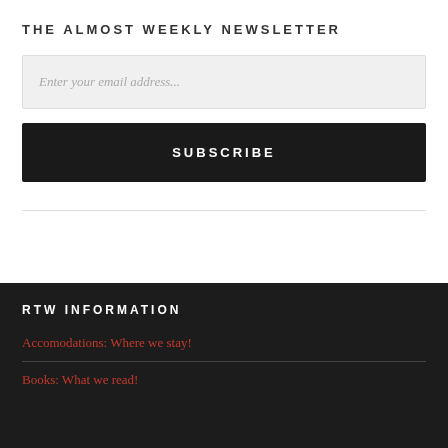THE ALMOST WEEKLY NEWSLETTER
Enter your email address...
SUBSCRIBE
RTW INFORMATION
Accomodations: Where we stay!
Books: What we read!